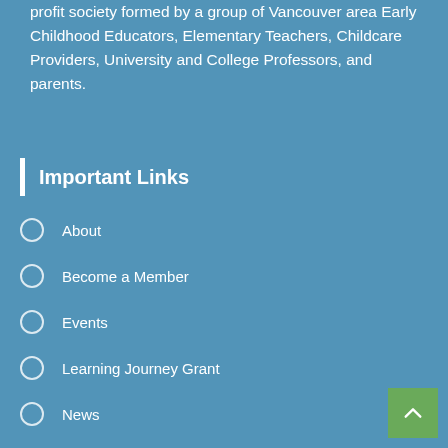profit society formed by a group of Vancouver area Early Childhood Educators, Elementary Teachers, Childcare Providers, University and College Professors, and parents.
Important Links
About
Become a Member
Events
Learning Journey Grant
News